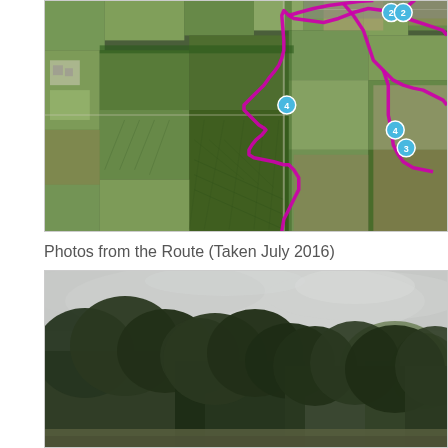[Figure (map): Satellite aerial map view of agricultural fields with a magenta/pink route line overlaid. Several numbered waypoint markers (blue circles) are visible on the route. The landscape shows green and brown agricultural fields from an overhead perspective.]
Photos from the Route (Taken July 2016)
[Figure (photo): Photograph of tall dark green trees seen from ground level against an overcast grey sky. Taken in July 2016 along the route.]